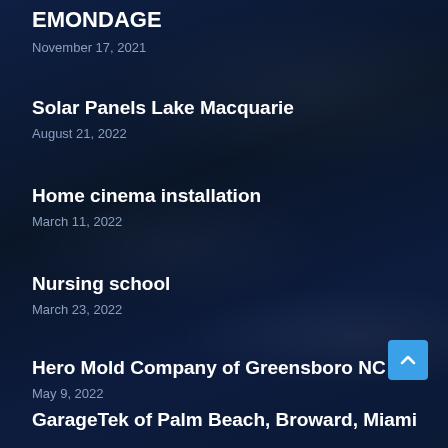EMONDAGE
November 17, 2021
Solar Panels Lake Macquarie
August 21, 2022
Home cinema installation
March 11, 2022
Nursing school
March 23, 2022
Hero Mold Company of Greensboro NC
May 9, 2022
GarageTek of Palm Beach, Broward, Miami